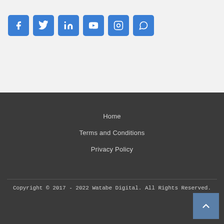[Figure (other): Row of 6 social media icon buttons (Facebook, Twitter, LinkedIn, YouTube, Instagram, WhatsApp) in blue rounded squares]
Home
Terms and Conditions
Privacy Policy
Copyright © 2017 - 2022 Watabe Digital. All Rights Reserved.